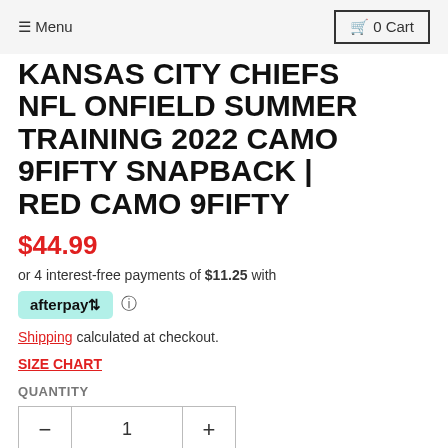Menu  0 Cart
KANSAS CITY CHIEFS NFL ONFIELD SUMMER TRAINING 2022 CAMO 9FIFTY SNAPBACK | RED CAMO 9FIFTY
$44.99
or 4 interest-free payments of $11.25 with afterpay
Shipping calculated at checkout.
SIZE CHART
QUANTITY
- 1 +